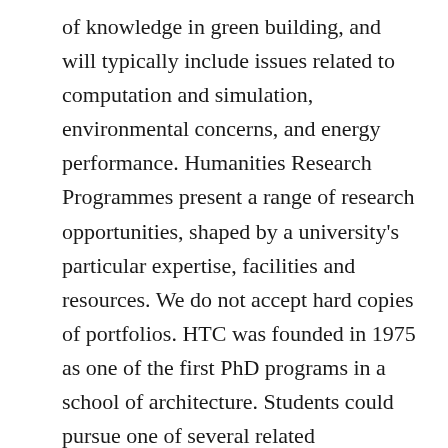of knowledge in green building, and will typically include issues related to computation and simulation, environmental concerns, and energy performance. Humanities Research Programmes present a range of research opportunities, shaped by a university's particular expertise, facilities and resources. We do not accept hard copies of portfolios. HTC was founded in 1975 as one of the first PhD programs in a school of architecture. Students could pursue one of several related concentrations, including construction management and urban and landscape design, while honing their technical and artistic prowess. It should reflect your prior intellectual and professional engagement with these issues, and may also provide some additional perspective on the work illustrated in the portfolio. With this vision, the Department of Architecture offers M.S., M.Arch. Exceptionally talented and thoughtful architects are invited to undertake